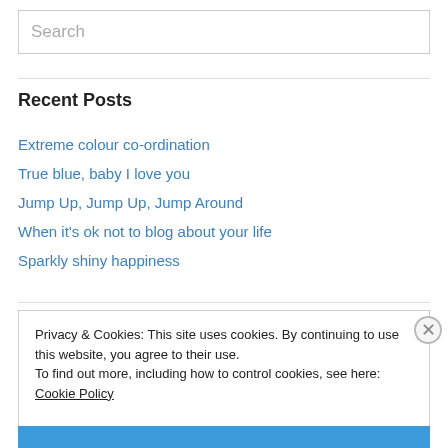Search
Recent Posts
Extreme colour co-ordination
True blue, baby I love you
Jump Up, Jump Up, Jump Around
When it's ok not to blog about your life
Sparkly shiny happiness
Privacy & Cookies: This site uses cookies. By continuing to use this website, you agree to their use. To find out more, including how to control cookies, see here: Cookie Policy
Close and accept